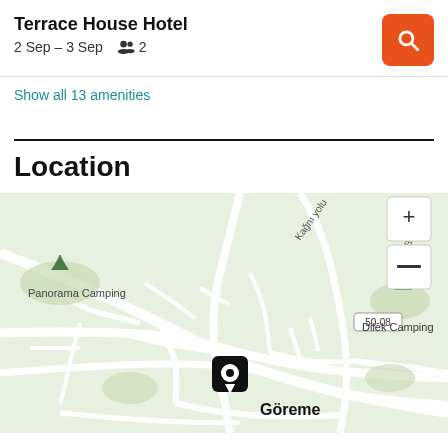Terrace House Hotel
2 Sep – 3 Sep   👥 2
Show all 13 amenities
Location
[Figure (map): Map showing location of Terrace House Hotel in Göreme, Turkey. Shows Panorama Camping to the left, Dilek Camping to the upper right, Kağnı yolu and Bilal Eroğlu street labels, road number 50-08, and a location pin marker over Göreme town center. Zoom controls (+/-) visible in top right corner of map.]